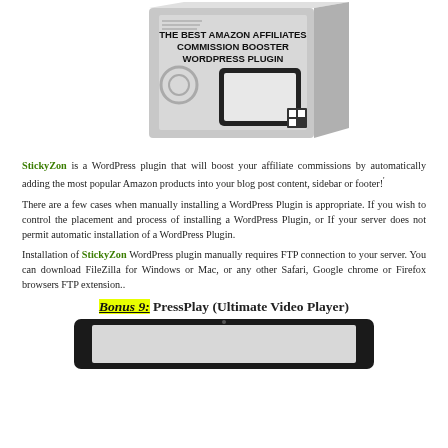[Figure (photo): Product box image for 'The Best Amazon Affiliates Commission Booster WordPress Plugin' with a tablet showing a shopping website]
StickyZon is a WordPress plugin that will boost your affiliate commissions by automatically adding the most popular Amazon products into your blog post content, sidebar or footer!
There are a few cases when manually installing a WordPress Plugin is appropriate. If you wish to control the placement and process of installing a WordPress Plugin, or If your server does not permit automatic installation of a WordPress Plugin.
Installation of StickyZon WordPress plugin manually requires FTP connection to your server. You can download FileZilla for Windows or Mac, or any other Safari, Google chrome or Firefox browsers FTP extension..
Bonus 9: PressPlay (Ultimate Video Player)
[Figure (screenshot): Black tablet/monitor showing a light gray screen, representing PressPlay video player interface]